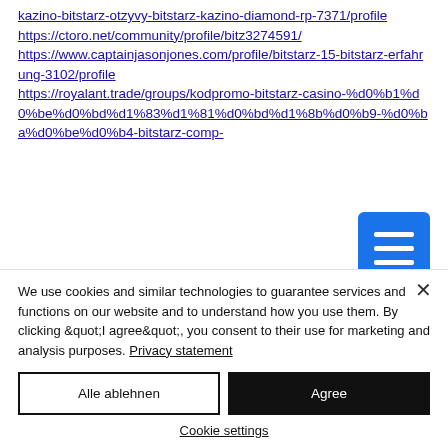kazino-bitstarz-otzyvy-bitstarz-kazino-diamond-rp-7371/profile https://ctoro.net/community/profile/bitz3274591/ https://www.captainjasonjones.com/profile/bitstarz-15-bitstarz-erfahrung-3102/profile https://royalant.trade/groups/kodpromo-bitstarz-casino-%d0%b1%d0%be%d0%bd%d1%83%d1%81%d0%bd%d1%8b%d0%b9-%d0%ba%d0%be%d0%b4-bitstarz-comp-
[Figure (other): Blue hamburger menu button overlay in top-right area]
We use cookies and similar technologies to guarantee services and functions on our website and to understand how you use them. By clicking &quot;I agree&quot;, you consent to their use for marketing and analysis purposes. Privacy statement
Alle ablehnen
Agree
Cookie settings